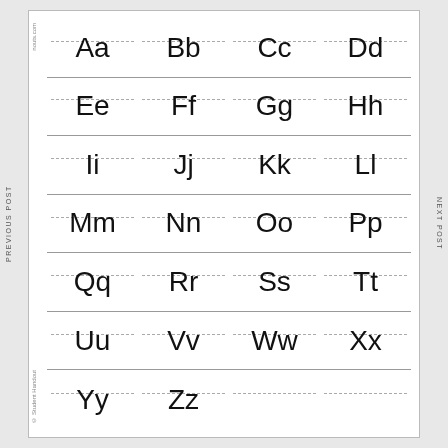[Figure (illustration): Alphabet chart showing uppercase and lowercase letter pairs from Aa to Zz arranged in a 4-column grid with handwriting guide lines (baseline and midline dashes). Letters: Aa Bb Cc Dd / Ee Ff Gg Hh / Ii Jj Kk Ll / Mm Nn Oo Pp / Qq Rr Ss Tt / Uu Vv Ww Xx / Yy Zz]
© Student Handout
PREVIOUS POST
NEXT POST